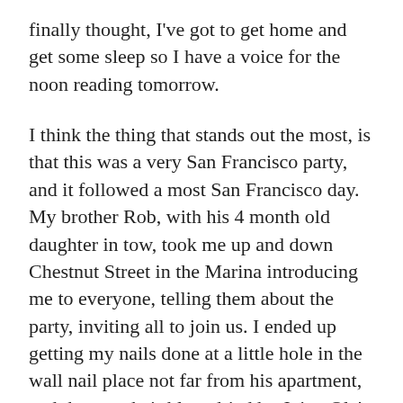finally thought, I've got to get home and get some sleep so I have a voice for the noon reading tomorrow.
I think the thing that stands out the most, is that this was a very San Francisco party, and it followed a most San Francisco day. My brother Rob, with his 4 month old daughter in tow, took me up and down Chestnut Street in the Marina introducing me to everyone, telling them about the party, inviting all to join us. I ended up getting my nails done at a little hole in the wall nail place not far from his apartment, and then my hair blow dried by Joi at Ole's further down on Chestnut. Rob and I stepped in at Books, Inc on Chestnut and they had four copies of Frog Prince which I signed and they moved up to the counter. Rob carried flyers into the cha-cha boutiques where all gorgeous glam girls shop and told the owners (who all know Rob) that this book is